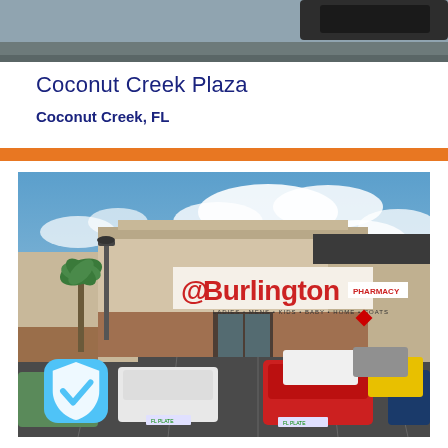[Figure (photo): Partial top view of a vehicle or road scene, cropped at top of page]
Coconut Creek Plaza
Coconut Creek, FL
[Figure (photo): Exterior photo of Burlington store at Coconut Creek Plaza shopping center, showing storefront with Burlington sign, palm trees, parking lot with cars, and a Pharmacy sign visible to the right. Blue sky with clouds in background.]
[Figure (logo): Blue shield with white checkmark badge icon in lower-left corner of main photo]